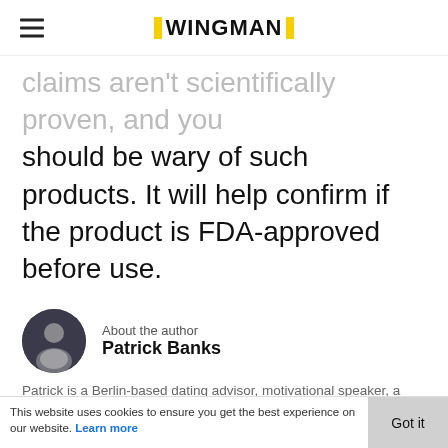WINGMAN
claims aren't scientifically proven, and you should be wary of such products. It will help confirm if the product is FDA-approved before use.
About the author
Patrick Banks
Patrick is a Berlin-based dating advisor, motivational speaker, a huge fitness and vegan diet enthusiast and the main editor at Wingman Magazine, specialised in men's health. His ultimate goal is to share with men around the world his passion for self-development and to help them to become the greatest version of themselves. He believes a healthy body and successful social interactions are two main keys to happiness.
This website uses cookies to ensure you get the best experience on our website. Learn more   Got it